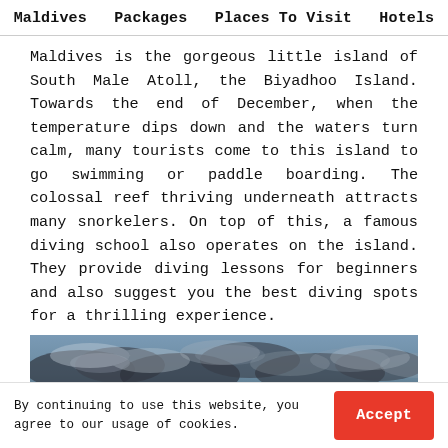Maldives   Packages   Places To Visit   Hotels
Maldives is the gorgeous little island of South Male Atoll, the Biyadhoo Island. Towards the end of December, when the temperature dips down and the waters turn calm, many tourists come to this island to go swimming or paddle boarding. The colossal reef thriving underneath attracts many snorkelers. On top of this, a famous diving school also operates on the island. They provide diving lessons for beginners and also suggest you the best diving spots for a thrilling experience.
[Figure (photo): Panoramic photo of a cloudy sky over the Maldives ocean at dusk/dawn, with dramatic clouds and warm sunset tones on the horizon]
By continuing to use this website, you agree to our usage of cookies.